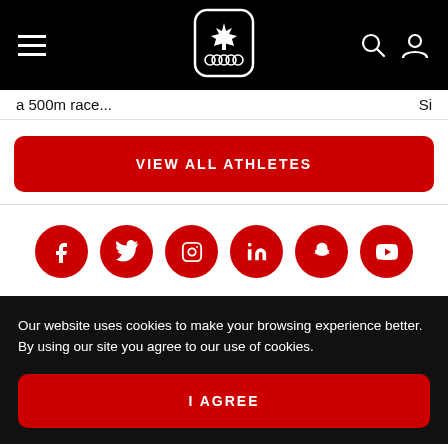Canadian Olympic Committee navigation header with logo, hamburger menu, search and profile icons
a 500m race...  Sir
VIEW ALL ATHLETES
[Figure (other): Row of six red circular social media icons: Facebook, Twitter, Instagram, LinkedIn, Snapchat, YouTube]
Our website uses cookies to make your browsing experience better. By using our site you agree to our use of cookies.
I AGREE